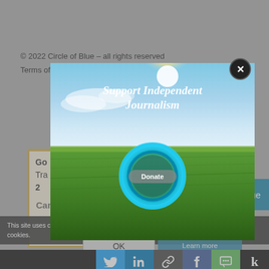© 2022 Circle of Blue – all rights reserved
Terms of Service | Privacy Policy
Go
Tra
2
Candid
You have the power to inform
ue
[Figure (photo): Modal popup with sky and green field background, text 'Support Independent Journalism' in italic white, and a Donate button with blue circular logo]
This site uses cookies. By continuing to browse the site, you are agreeing to our use of cookies.
OK
Learn more
[Figure (infographic): Social sharing bar with Twitter, LinkedIn, link, Facebook, SMS, and Kinja icons]